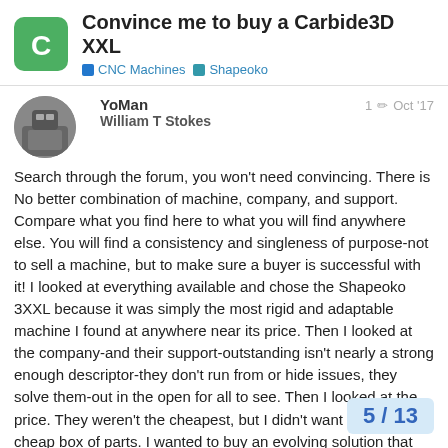Convince me to buy a Carbide3D XXL — CNC Machines / Shapeoko
YoMan
William T Stokes
1 ✏ Oct '17
Search through the forum, you won't need convincing. There is No better combination of machine, company, and support. Compare what you find here to what you will find anywhere else. You will find a consistency and singleness of purpose-not to sell a machine, but to make sure a buyer is successful with it! I looked at everything available and chose the Shapeoko 3XXL because it was simply the most rigid and adaptable machine I found at anywhere near its price. Then I looked at the company-and their support-outstanding isn't nearly a strong enough descriptor-they don't run from or hide issues, they solve them-out in the open for all to see. Then I looked at the price. They weren't the cheapest, but I didn't want to buy a cheap box of parts. I wanted to buy an evolving solution that moved with me as I grew into (rather than out of) the mach… happier with what I bought. Don't task som… decision, own it. My bet is you will find the…
5 / 13